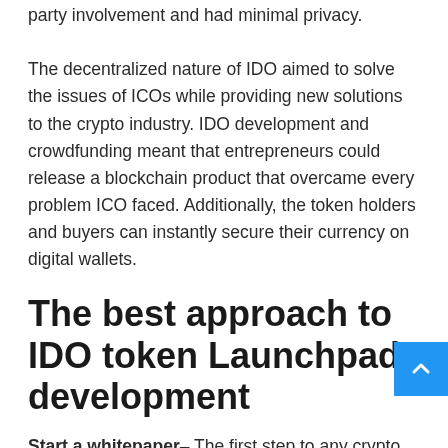party involvement and had minimal privacy. The decentralized nature of IDO aimed to solve the issues of ICOs while providing new solutions to the crypto industry. IDO development and crowdfunding meant that entrepreneurs could release a blockchain product that overcame every problem ICO faced. Additionally, the token holders and buyers can instantly secure their currency on digital wallets.
The best approach to IDO token Launchpad development
Start a whitepaper– The first step to any crypto project begins with a whitepaper. Draft a comprehensive and detailed document that aids in launching your new project on the market.